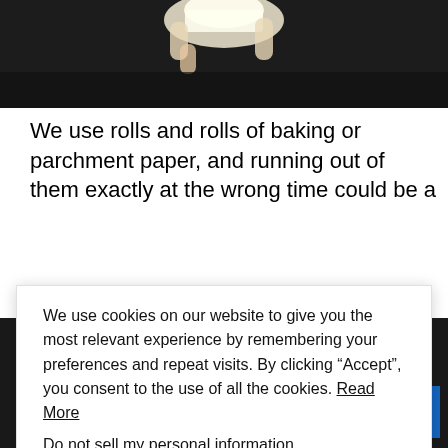[Figure (photo): Person holding a white cup/bowl against a dark background, viewed from above and close up.]
We use rolls and rolls of baking or parchment paper, and running out of them exactly at the wrong time could be a
We use cookies on our website to give you the most relevant experience by remembering your preferences and repeat visits. By clicking “Accept”, you consent to the use of all the cookies. Read More
Do not sell my personal information.
Cookie settings    ACCEPT and CLOSE
[Figure (photo): Thumbnail image of baking silicone mat with macarons.]
Search for
1. Kitchen Cooking Utensils
2. Different Kitchen Utensils